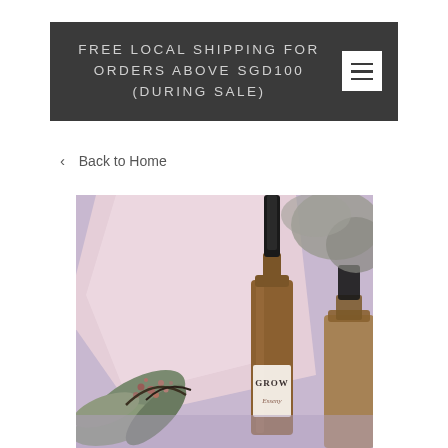FREE LOCAL SHIPPING FOR ORDERS ABOVE SGD100 (DURING SALE)
< Back to Home
[Figure (photo): A product photo showing a skincare bottle labeled 'GROW' surrounded by dried flowers, pink tissue paper, and green leaves arranged on a purple surface.]